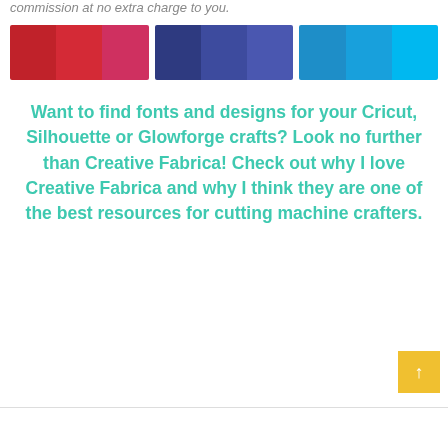commission at no extra charge to you.
[Figure (illustration): Three groups of color swatches: reds, navy blues, and cyans, each group containing three shades side by side]
Want to find fonts and designs for your Cricut, Silhouette or Glowforge crafts? Look no further than Creative Fabrica! Check out why I love Creative Fabrica and why I think they are one of the best resources for cutting machine crafters.